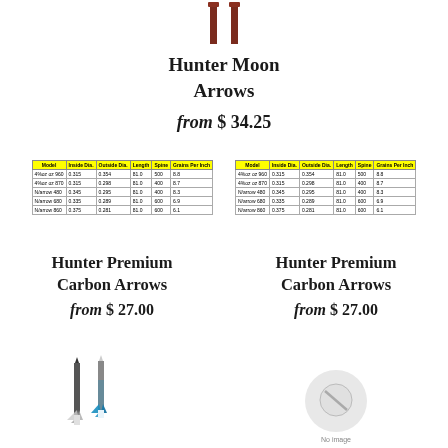[Figure (photo): Two arrows at the top of the page, dark reddish-brown color, vertical orientation]
Hunter Moon Arrows
from $ 34.25
| Model | Inside Dia. | Outside Dia. | Length | Spine | Grains Per Inch |
| --- | --- | --- | --- | --- | --- |
| 4%oz oz 960 | 0.315 | 0.354 | 81.0 | 500 | 8.8 |
| 4%oz oz 870 | 0.315 | 0.298 | 81.0 | 400 | 8.7 |
| N/arrow 480 | 0.345 | 0.295 | 81.0 | 400 | 8.3 |
| N/arrow 680 | 0.335 | 0.289 | 81.0 | 600 | 6.9 |
| N/arrow 860 | 0.375 | 0.281 | 81.0 | 600 | 6.1 |
| Model | Inside Dia. | Outside Dia. | Length | Spine | Grains Per Inch |
| --- | --- | --- | --- | --- | --- |
| 4%oz oz 960 | 0.315 | 0.354 | 81.0 | 500 | 8.8 |
| 4%oz oz 870 | 0.315 | 0.298 | 81.0 | 400 | 8.7 |
| N/arrow 480 | 0.345 | 0.295 | 81.0 | 400 | 8.3 |
| N/arrow 680 | 0.335 | 0.289 | 81.0 | 600 | 6.9 |
| N/arrow 860 | 0.375 | 0.281 | 81.0 | 600 | 6.1 |
Hunter Premium Carbon Arrows
from $ 27.00
Hunter Premium Carbon Arrows
from $ 27.00
[Figure (photo): Two arrows with fletching - one dark/black fletched arrow and one blue/teal fletched arrow]
[Figure (photo): No image placeholder circle with 'No image' text]